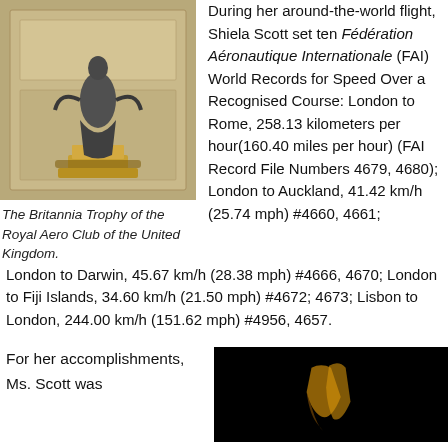[Figure (photo): Photo of the Britannia Trophy, a silver statue on a golden base, displayed against a decorative background.]
The Britannia Trophy of the Royal Aero Club of the United Kingdom.
During her around-the-world flight, Shiela Scott set ten Fédération Aéronautique Internationale (FAI) World Records for Speed Over a Recognised Course: London to Rome, 258.13 kilometers per hour(160.40 miles per hour) (FAI Record File Numbers 4679, 4680); London to Auckland, 41.42 km/h (25.74 mph) #4660, 4661; London to Darwin, 45.67 km/h (28.38 mph) #4666, 4670; London to Fiji Islands, 34.60 km/h (21.50 mph) #4672; 4673; Lisbon to London, 244.00 km/h (151.62 mph) #4956, 4657.
For her accomplishments, Ms. Scott was
[Figure (photo): Dark photo with a faint golden object visible against a black background.]